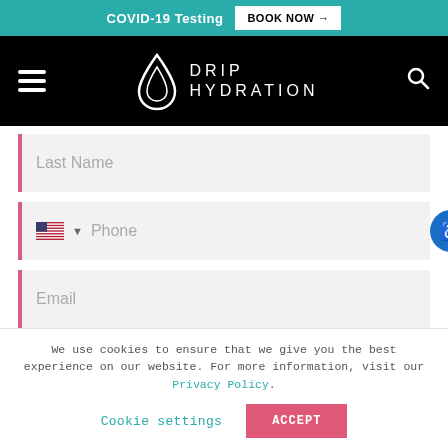COVID-19 Testing  BOOK NOW →
[Figure (logo): Drip Hydration logo with water drop icon and text DRIP HYDRATION on black navigation bar with hamburger menu and search icon]
Last Name
Phone
Email
We use cookies to ensure that we give you the best experience on our website. For more information, visit our Privacy Policy.
Cookie settings   ACCEPT